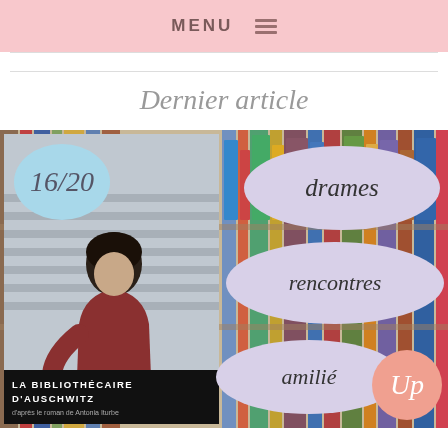MENU
Dernier article
[Figure (illustration): Book review image for 'La Bibliothécaire d'Auschwitz' showing a score bubble of 16/20 in light blue, the book cover with a girl figure and dark title bar, and three lavender oval tags labeled 'drames', 'rencontres', 'amilié' on a bookshelf background, with a coral logo circle bottom right.]